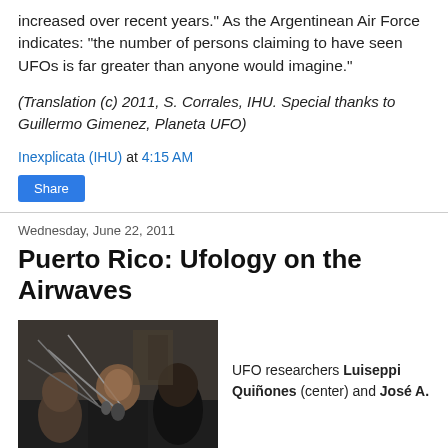increased over recent years." As the Argentinean Air Force indicates: "the number of persons claiming to have seen UFOs is far greater than anyone would imagine."
(Translation (c) 2011, S. Corrales, IHU. Special thanks to Guillermo Gimenez, Planeta UFO)
Inexplicata (IHU) at 4:15 AM
Share
Wednesday, June 22, 2011
Puerto Rico: Ufology on the Airwaves
[Figure (photo): Two people in a radio studio with microphones, photographed in low light. One person faces the camera, wearing a black shirt. Another person is seen from behind.]
UFO researchers Luiseppi Quiñones (center) and José A.